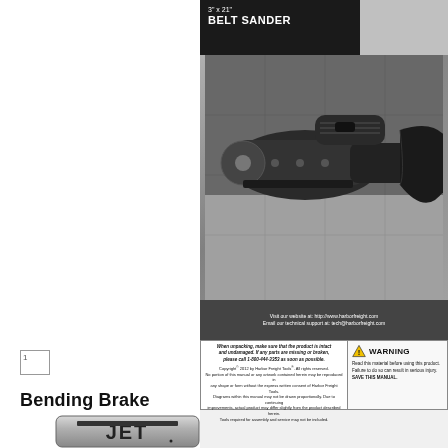[Figure (photo): Product cover page for a 3 inch x 21 inch Belt Sander showing a black belt sander tool on a tiled floor background, with Harbor Freight branding]
When unpacking, make sure that the product is intact and undamaged. If any parts are missing or broken, please call 1-800-444-3353 as soon as possible.
Copyright 2012 by Harbor Freight Tools. All rights reserved. No portion of this manual or any artwork contained herein may be reproduced in any shape or form without the express written consent of Harbor Freight Tools. Diagrams within this manual may not be drawn proportionally. Due to continuing improvements, actual product may differ slightly from the product described herein. Tools required for assembly and service may not be included.
WARNING
Read this material before using this product. Failure to do so can result in serious injury. SAVE THIS MANUAL.
Bending Brake
[Figure (logo): JET brand logo — silver rounded rectangle with JET text in bold]